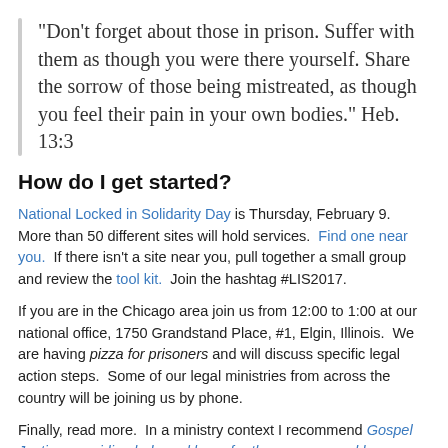“Don’t forget about those in prison. Suffer with them as though you were there yourself. Share the sorrow of those being mistreated, as though you feel their pain in your own bodies.” Heb. 13:3
How do I get started?
National Locked in Solidarity Day is Thursday, February 9.  More than 50 different sites will hold services.  Find one near you.  If there isn’t a site near you, pull together a small group and review the tool kit.  Join the hashtag #LIS2017.
If you are in the Chicago area join us from 12:00 to 1:00 at our national office, 1750 Grandstand Place, #1, Elgin, Illinois.  We are having pizza for prisoners and will discuss specific legal action steps.  Some of our legal ministries from across the country will be joining us by phone.
Finally, read more.  In a ministry context I recommend Gospel Justice, providing help and hope for those oppressed by